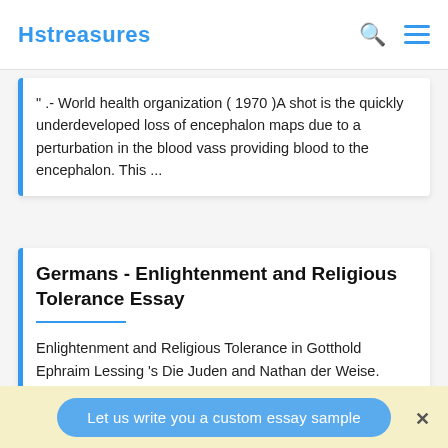Hstreasures
" .- World health organization ( 1970 )A shot is the quickly underdeveloped loss of encephalon maps due to a perturbation in the blood vass providing blood to the encephalon. This ...
Germans - Enlightenment and Religious Tolerance Essay
Enlightenment and Religious Tolerance in Gotthold Ephraim Lessing 's Die Juden and Nathan der Weise. Because of the impact of the
Let us write you a custom essay sample